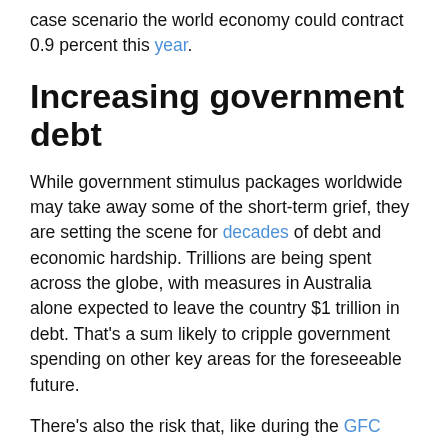case scenario the world economy could contract 0.9 percent this year.
Increasing government debt
While government stimulus packages worldwide may take away some of the short-term grief, they are setting the scene for decades of debt and economic hardship. Trillions are being spent across the globe, with measures in Australia alone expected to leave the country $1 trillion in debt. That’s a sum likely to cripple government spending on other key areas for the foreseeable future.
There’s also the risk that, like during the GFC